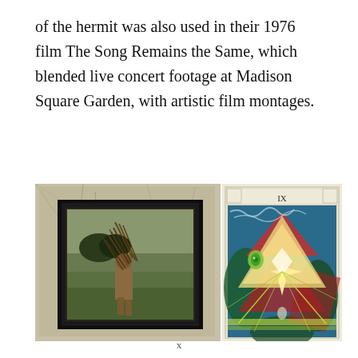of the hermit was also used in their 1976 film The Song Remains the Same, which blended live concert footage at Madison Square Garden, with artistic film montages.
[Figure (photo): Two images side by side: left shows the Led Zeppelin IV album cover art — a painting within a painting hung on a crumbling wall, depicting a figure carrying a bundle of sticks; right shows a colorful Thoth Tarot card (card IX, The Hermit) with geometric light patterns, triangles, and esoteric imagery.]
x